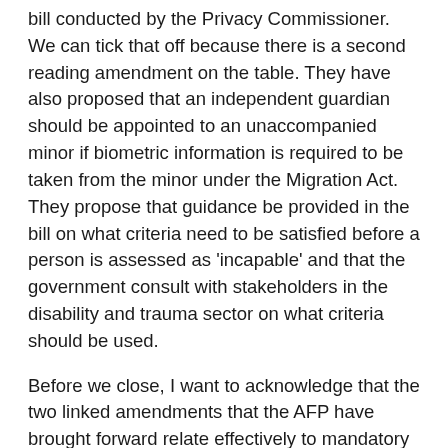bill conducted by the Privacy Commissioner. We can tick that off because there is a second reading amendment on the table. They have also proposed that an independent guardian should be appointed to an unaccompanied minor if biometric information is required to be taken from the minor under the Migration Act. They propose that guidance be provided in the bill on what criteria need to be satisfied before a person is assessed as 'incapable' and that the government consult with stakeholders in the disability and trauma sector on what criteria should be used.
Before we close, I want to acknowledge that the two linked amendments that the AFP have brought forward relate effectively to mandatory data breach notification. That is something I think should be on the statute books already; it should be unnecessary for opposition senators to bring such an amendment forward, but I acknowledge that they have done so. At the moment, you would assume that if somebody is collecting sensitive personal information on you-over which you will lose all control